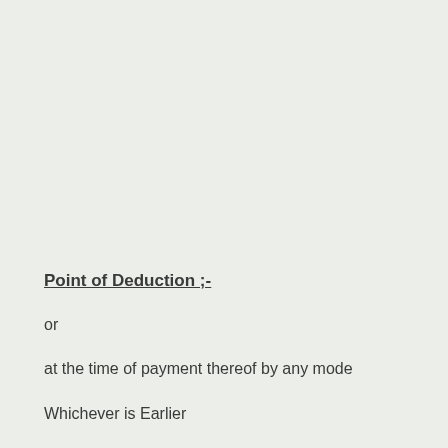Point of Deduction ;-
or
at the time of payment thereof by any mode
Whichever is Earlier